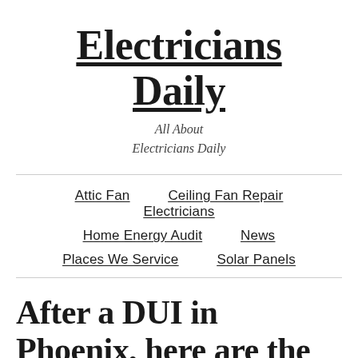Electricians Daily
All About Electricians Daily
Attic Fan
Ceiling Fan Repair
Electricians
Home Energy Audit
News
Places We Service
Solar Panels
After a DUI in Phoenix, here are the top 10 Ignition Interlock